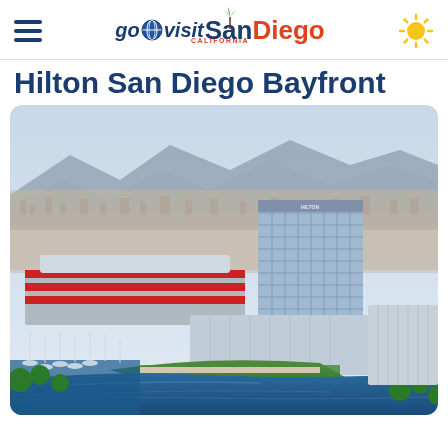go visit San Diego — California — (hamburger menu, sun icon)
Hilton San Diego Bayfront
[Figure (photo): Aerial view of Hilton San Diego Bayfront hotel tower and surrounding area including the convention center with red awnings, marina with boats, green parkland near the bay, city sprawl in the background, and mountains on the horizon.]